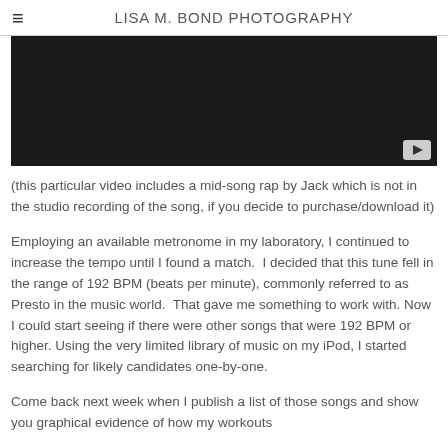LISA M. BOND PHOTOGRAPHY
[Figure (screenshot): Dark video thumbnail with a YouTube play button in the bottom-right corner]
(this particular video includes a mid-song rap by Jack which is not in the studio recording of the song, if you decide to purchase/download it)
Employing an available metronome in my laboratory, I continued to increase the tempo until I found a match.  I decided that this tune fell in the range of 192 BPM (beats per minute), commonly referred to as Presto in the music world.  That gave me something to work with. Now I could start seeing if there were other songs that were 192 BPM or higher. Using the very limited library of music on my iPod, I started searching for likely candidates one-by-one.
Come back next week when I publish a list of those songs and show you graphical evidence of how my workouts